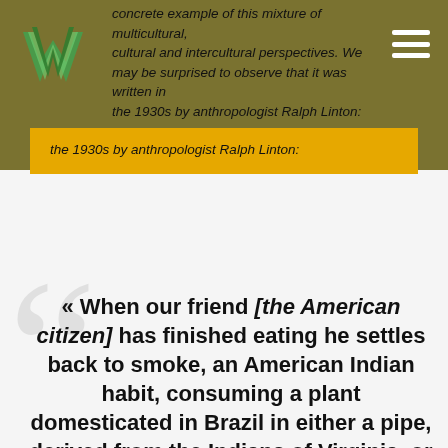concrete example of this mixture of multicultural, cultural and intercultural perspectives. We may be surprised to observe that it was written in the 1930s by anthropologist Ralph Linton:
« When our friend [the American citizen] has finished eating he settles back to smoke, an American Indian habit, consuming a plant domesticated in Brazil in either a pipe, derived from the Indians of Virginia, or a cigarette, derived from Mexico. If